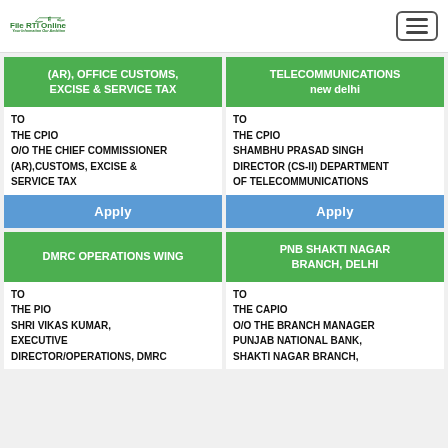[Figure (logo): File RTI Online logo with scales of justice icon and tagline 'Your Information Our Ambition']
| Card 1 Header | Card 2 Header |
| --- | --- |
| (AR), OFFICE CUSTOMS, EXCISE & SERVICE TAX | TELECOMMUNICATIONS new delhi |
| TO
THE CPIO
O/O THE CHIEF COMMISSIONER (AR),CUSTOMS, EXCISE & SERVICE TAX | TO
THE CPIO
SHAMBHU PRASAD SINGH
DIRECTOR (CS-II) DEPARTMENT OF TELECOMMUNICATIONS |
| Apply | Apply |
| DMRC OPERATIONS WING | PNB SHAKTI NAGAR BRANCH, DELHI |
| TO
THE PIO
SHRI VIKAS KUMAR,
EXECUTIVE
DIRECTOR/OPERATIONS, DMRC | TO
THE CAPIO
O/O THE BRANCH MANAGER
PUNJAB NATIONAL BANK,
SHAKTI NAGAR BRANCH, |